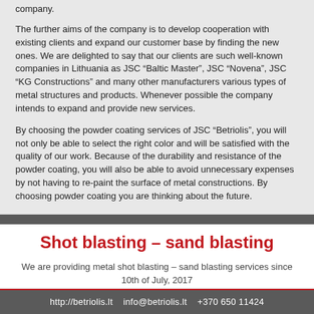company.
The further aims of the company is to develop cooperation with existing clients and expand our customer base by finding the new ones. We are delighted to say that our clients are such well-known companies in Lithuania as JSC “Baltic Master”, JSC “Novena”, JSC “KG Constructions” and many other manufacturers various types of metal structures and products. Whenever possible the company intends to expand and provide new services.
By choosing the powder coating services of JSC “Betriolis”, you will not only be able to select the right color and will be satisfied with the quality of our work. Because of the durability and resistance of the powder coating, you will also be able to avoid unnecessary expenses by not having to re-paint the surface of metal constructions. By choosing powder coating you are thinking about the future.
Shot blasting – sand blasting
We are providing metal shot blasting – sand blasting services since 10th of July, 2017
http://betriolis.lt   info@betriolis.lt   +370 650 11424